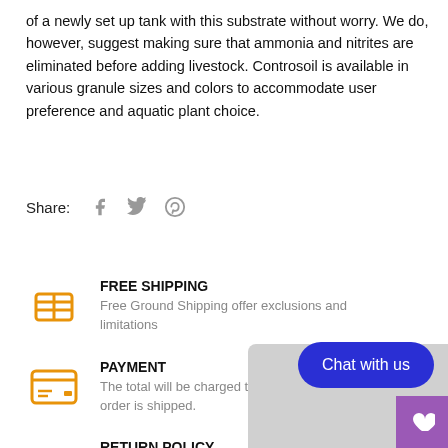of a newly set up tank with this substrate without worry. We do, however, suggest making sure that ammonia and nitrites are eliminated before adding livestock. Controsoil is available in various granule sizes and colors to accommodate user preference and aquatic plant choice.
Share:
FREE SHIPPING
Free Ground Shipping offer exclusions and limitations
PAYMENT
The total will be charged to yo... order is shipped.
RETURN POLICY
You can return any item within 30 days of the